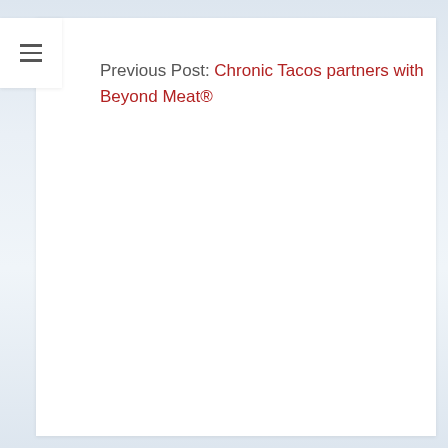Previous Post: Chronic Tacos partners with Beyond Meat®